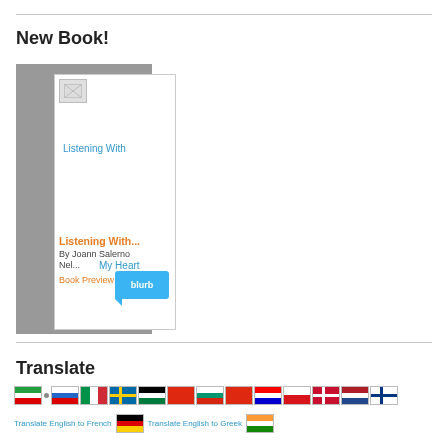New Book!
[Figure (screenshot): Book widget showing 'Listening With...' book by Joann Salerno Nel... with a Blurb badge and 'My Heart' text. The widget has a grey outer frame and white inner card with broken image icon.]
Translate
[Figure (infographic): Row of country flag images for translation links including Iran, Russia, Italy, Sweden, Jordan, China, Bulgaria, China, Croatia, Czech, Denmark, Netherlands, Finland, and a second row with French, German, Greek, Indian flags.]